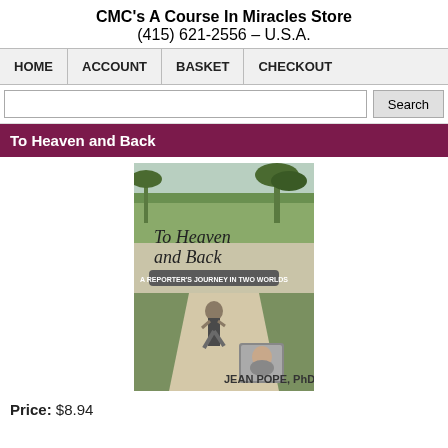CMC's A Course In Miracles Store
(415) 621-2556 – U.S.A.
HOME  ACCOUNT  BASKET  CHECKOUT
To Heaven and Back
[Figure (photo): Book cover of 'To Heaven and Back: A Reporter's Journey in Two Worlds' by Jean Pope, PhD. Shows a woman walking on a dirt road with trees, and an author photo inset.]
Price: $8.94